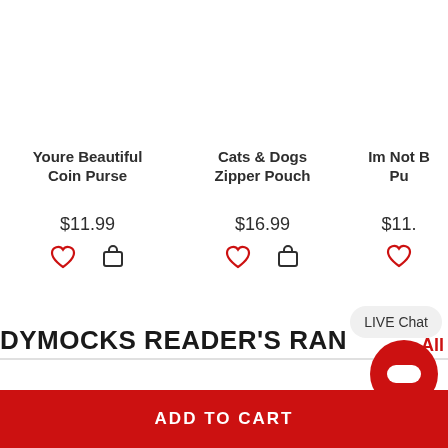Youre Beautiful Coin Purse
$11.99
Cats & Dogs Zipper Pouch
$16.99
Im Not B... Pu...
$11.
DYMOCKS READER'S RAN...
LIVE Chat
All
ADD TO CART